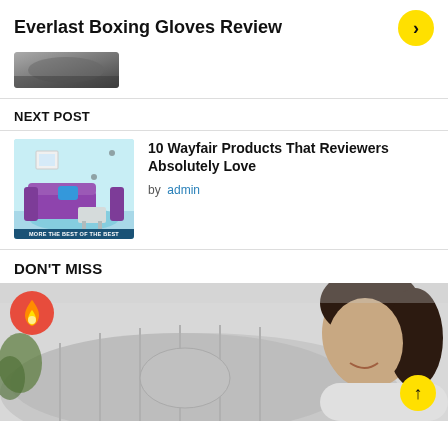Everlast Boxing Gloves Review
[Figure (photo): Partial image of boxing gloves or related product at top of page]
NEXT POST
[Figure (illustration): Wayfair product thumbnail showing a living room with purple sofa and light blue walls. Caption overlay: MORE THE BEST OF THE BEST]
10 Wayfair Products That Reviewers Absolutely Love
by  admin
DON'T MISS
[Figure (photo): Large banner photo showing a person (woman with dark hair, smiling) resting on a grey cushioned bath pillow/spa pillow. Red fire badge icon in top-left corner. Yellow scroll-up button in bottom-right corner.]